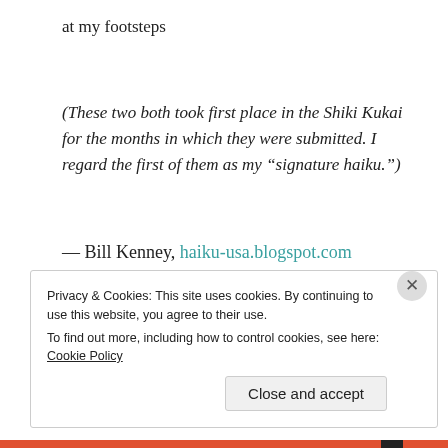at my footsteps
(These two both took first place in the Shiki Kukai for the months in which they were submitted. I regard the first of them as my “signature haiku.”)
— Bill Kenney, haiku-usa.blogspot.com
Privacy & Cookies: This site uses cookies. By continuing to use this website, you agree to their use.
To find out more, including how to control cookies, see here: Cookie Policy
Close and accept